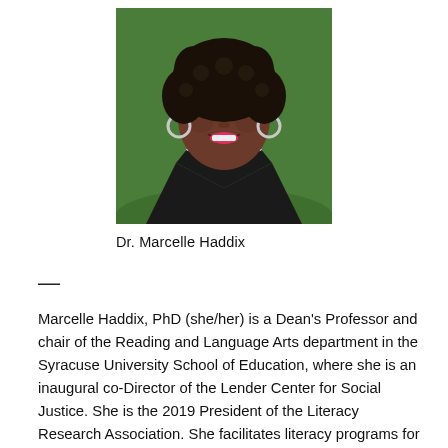[Figure (photo): Headshot portrait of Dr. Marcelle Haddix, a Black woman with natural curly hair, wearing hoop earrings and a black and white chevron patterned top, smiling against a green background.]
Dr. Marcelle Haddix
—
Marcelle Haddix, PhD (she/her) is a Dean's Professor and chair of the Reading and Language Arts department in the Syracuse University School of Education, where she is an inaugural co-Director of the Lender Center for Social Justice. She is the 2019 President of the Literacy Research Association. She facilitates literacy programs for adolescent and adult communities in Syracuse, including the Writing Our